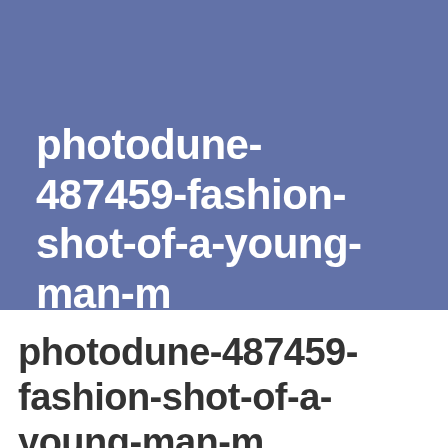[Figure (other): Blue-grey rectangular background block occupying the top portion of the page]
photodune-487459-fashion-shot-of-a-young-man-m
photodune-487459-fashion-shot-of-a-young-man-m